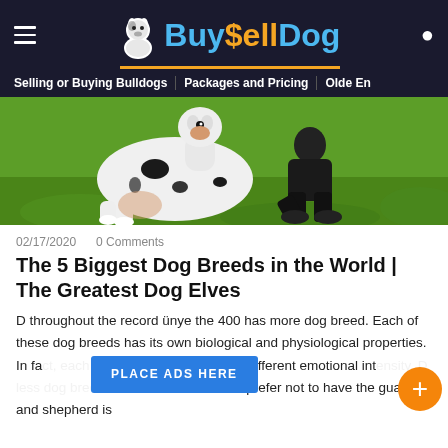Buy$ellDog — Selling or Buying Bulldogs | Packages and Pricing | Olde En
[Figure (photo): A large black and white spotted dog (Great Dane) sitting on green grass next to a person wearing black clothing]
02/17/2020   0 Comments
The 5 Biggest Dog Breeds in the World | The Greatest Dog Elves
D throughout the record ünye the 400 has more dog breed. Each of these dog breeds has its own biological and physiological properties. In fact, each kind finds it active having different emotional intensity. D Less dog breeds and others will prefer not to have the guard and shepherd is